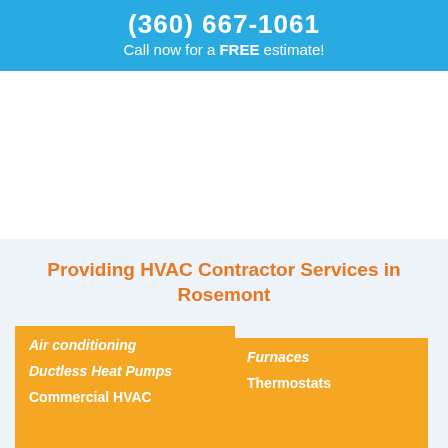(360) 667-1061
Call now for a FREE estimate!
Providing HVAC Contractor Services in Rosemont
Air conditioning
Ductless Heat Pumps
Commercial HVAC
Furnaces
Thermostats